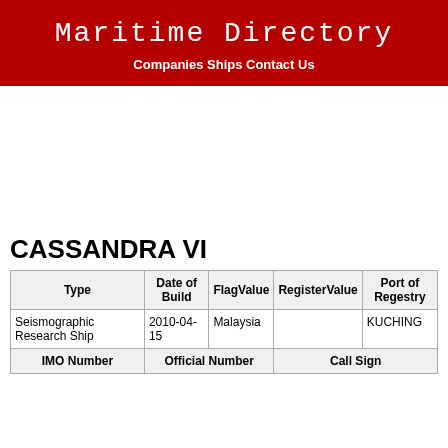Maritime Directory
Companies Ships Contact Us
CASSANDRA VI
| Type | Date of Build | FlagValue | RegisterValue | Port of Regestry |
| --- | --- | --- | --- | --- |
| Seismographic Research Ship | 2010-04-15 | Malaysia |  | KUCHING |
| IMO Number |  | Official Number |  | Call Sign |